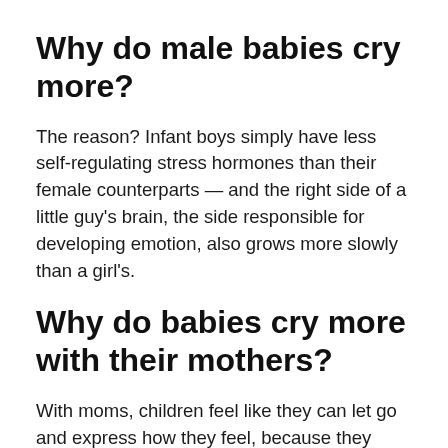Why do male babies cry more?
The reason? Infant boys simply have less self-regulating stress hormones than their female counterparts — and the right side of a little guy's brain, the side responsible for developing emotion, also grows more slowly than a girl's.
Why do babies cry more with their mothers?
With moms, children feel like they can let go and express how they feel, because they believe that their mom will make it better.